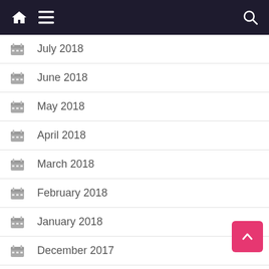Navigation bar with home icon, menu icon, and search icon
July 2018
June 2018
May 2018
April 2018
March 2018
February 2018
January 2018
December 2017
November 2017
October 2017
September 2017